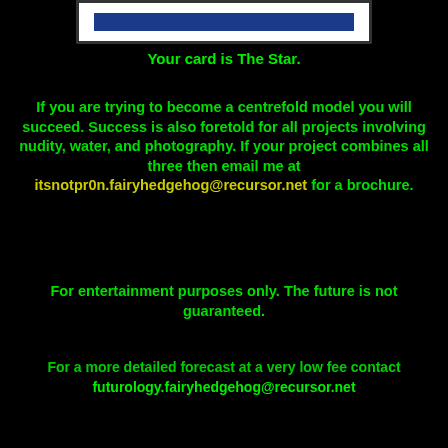[Figure (illustration): A tarot card image at the top of the page, white background with a dark blue banner]
Your card is The Star.
If you are trying to become a centrefold model you will succeed. Success is also foretold for all projects involving nudity, water, and photography. If your project combines all three then email me at itsnotpr0n.fairyhedgehog@recursor.net for a brochure.
For entertainment purposes only. The future is not guaranteed.
For a more detailed forecast at a very low fee contact futurology.fairyhedgehog@recursor.net